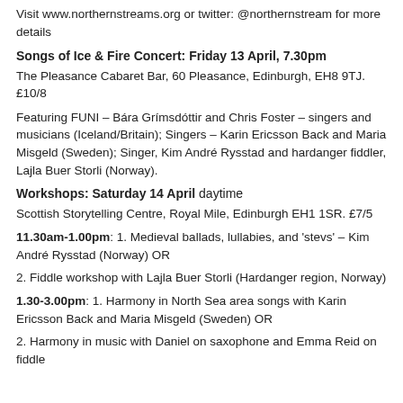Visit www.northernstreams.org or twitter: @northernstream for more details
Songs of Ice & Fire Concert: Friday 13 April, 7.30pm
The Pleasance Cabaret Bar, 60 Pleasance, Edinburgh, EH8 9TJ. £10/8
Featuring FUNI – Bára Grímsdóttir and Chris Foster – singers and musicians (Iceland/Britain); Singers – Karin Ericsson Back and Maria Misgeld (Sweden); Singer, Kim André Rysstad and hardanger fiddler, Lajla Buer Storli (Norway).
Workshops: Saturday 14 April daytime
Scottish Storytelling Centre, Royal Mile, Edinburgh EH1 1SR. £7/5
11.30am-1.00pm: 1. Medieval ballads, lullabies, and 'stevs' – Kim André Rysstad (Norway) OR
2. Fiddle workshop with Lajla Buer Storli (Hardanger region, Norway)
1.30-3.00pm: 1. Harmony in North Sea area songs with Karin Ericsson Back and Maria Misgeld (Sweden) OR
2. Harmony in music with Daniel on saxophone and Emma Reid on fiddle